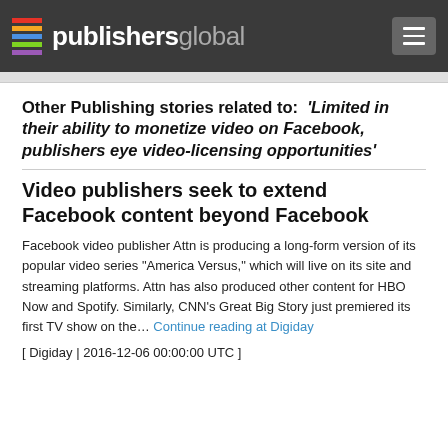publishersglobal
Other Publishing stories related to: ‘Limited in their ability to monetize video on Facebook, publishers eye video-licensing opportunities’
Video publishers seek to extend Facebook content beyond Facebook
Facebook video publisher Attn is producing a long-form version of its popular video series “America Versus,” which will live on its site and streaming platforms. Attn has also produced other content for HBO Now and Spotify. Similarly, CNN’s Great Big Story just premiered its first TV show on the... Continue reading at Digiday
[ Digiday | 2016-12-06 00:00:00 UTC ]